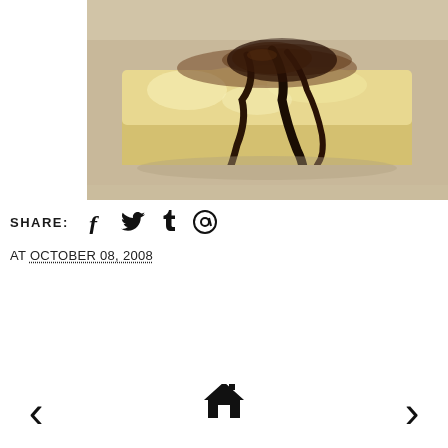[Figure (photo): Close-up photo of a baked or fried food item (possibly bread pudding or french toast) topped with chocolate sauce drizzle, on a light beige plate]
SHARE: f t @
AT OCTOBER 08, 2008
[Figure (infographic): Navigation bar with left arrow, home icon, and right arrow]